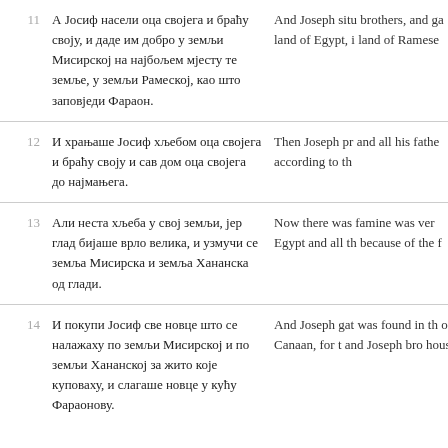| # | Serbian | English |
| --- | --- | --- |
| 11 | А Јосиф насели оца својега и браћу своју, и даде им добро у земљи Мисирској на најбољем мјесту те земље, у земљи Рамеској, као што заповједи Фараон. | And Joseph situ brothers, and ga land of Egypt, i land of Ramese |
| 12 | И храњаше Јосиф хљебом оца својега и браћу своју и сав дом оца својега до најмањега. | Then Joseph pr and all his fathe according to th |
| 13 | Али неста хљеба у свој земљи, јер глад бијаше врло велика, и узмучи се земља Мисирска и земља Хананска од глади. | Now there was famine was ver Egypt and all th because of the f |
| 14 | И покупи Јосиф све новце што се налажаху по земљи Мисирској и по земљи Хананској за жито које куповаху, и слагаше новце у кућу Фараонову. | And Joseph gat was found in th of Canaan, for t and Joseph bro house. |